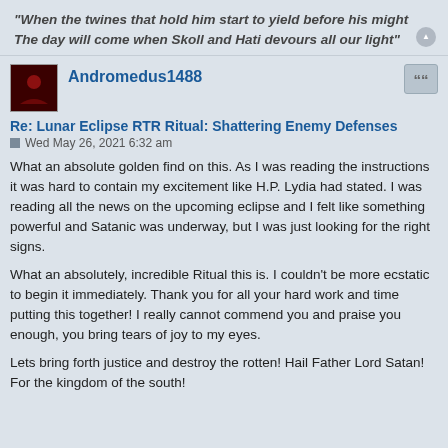"When the twines that hold him start to yield before his might The day will come when Skoll and Hati devours all our light"
Andromedus1488
Re: Lunar Eclipse RTR Ritual: Shattering Enemy Defenses
Wed May 26, 2021 6:32 am
What an absolute golden find on this. As I was reading the instructions it was hard to contain my excitement like H.P. Lydia had stated. I was reading all the news on the upcoming eclipse and I felt like something powerful and Satanic was underway, but I was just looking for the right signs.
What an absolutely, incredible Ritual this is. I couldn't be more ecstatic to begin it immediately. Thank you for all your hard work and time putting this together! I really cannot commend you and praise you enough, you bring tears of joy to my eyes.
Lets bring forth justice and destroy the rotten! Hail Father Lord Satan! For the kingdom of the south!